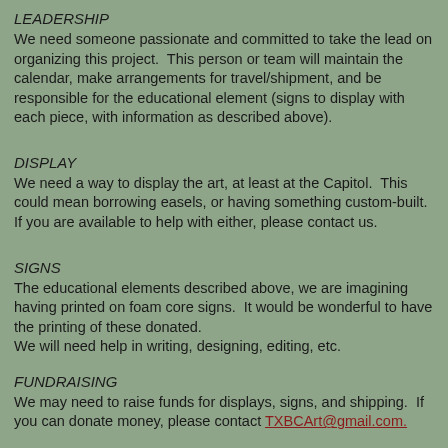LEADERSHIP
We need someone passionate and committed to take the lead on organizing this project.  This person or team will maintain the calendar, make arrangements for travel/shipment, and be responsible for the educational element (signs to display with each piece, with information as described above).
DISPLAY
We need a way to display the art, at least at the Capitol.  This could mean borrowing easels, or having something custom-built.  If you are available to help with either, please contact us.
SIGNS
The educational elements described above, we are imagining having printed on foam core signs.  It would be wonderful to have the printing of these donated.
We will need help in writing, designing, editing, etc.
FUNDRAISING
We may need to raise funds for displays, signs, and shipping.  If you can donate money, please contact TXBCArt@gmail.com.